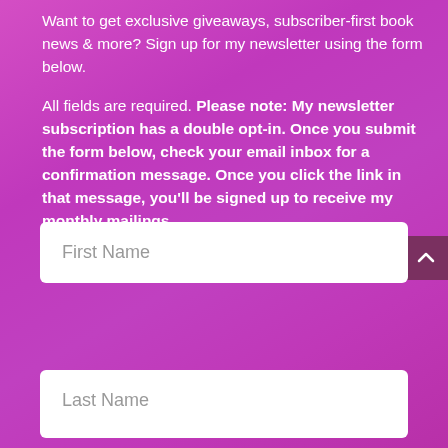Want to get exclusive giveaways, subscriber-first book news & more? Sign up for my newsletter using the form below.
All fields are required. Please note: My newsletter subscription has a double opt-in. Once you submit the form below, check your email inbox for a confirmation message. Once you click the link in that message, you'll be signed up to receive my monthly mailings.
[Figure (other): Scroll-up button with caret/chevron arrow pointing upward, dark purple background]
First Name
Last Name